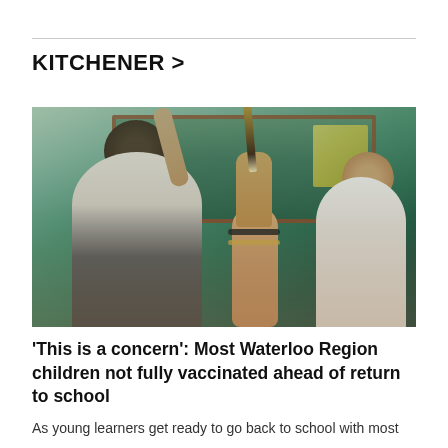KITCHENER >
[Figure (photo): Children in a classroom raising their hands, with a chalkboard in the background. A hand holding a pencil is prominently raised in the foreground.]
'This is a concern': Most Waterloo Region children not fully vaccinated ahead of return to school
As young learners get ready to go back to school with most